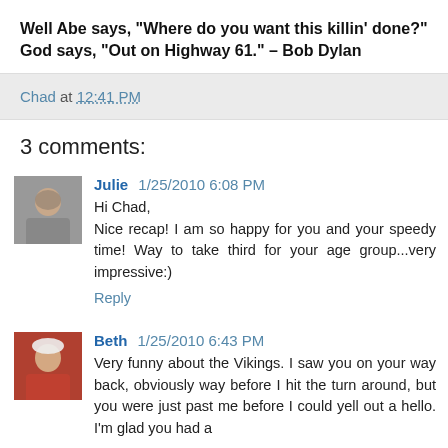Well Abe says, "Where do you want this killin' done?" God says, "Out on Highway 61." – Bob Dylan
Chad at 12:41 PM
3 comments:
Julie 1/25/2010 6:08 PM
Hi Chad,
Nice recap! I am so happy for you and your speedy time! Way to take third for your age group...very impressive:)
Reply
Beth 1/25/2010 6:43 PM
Very funny about the Vikings. I saw you on your way back, obviously way before I hit the turn around, but you were just past me before I could yell out a hello. I'm glad you had a